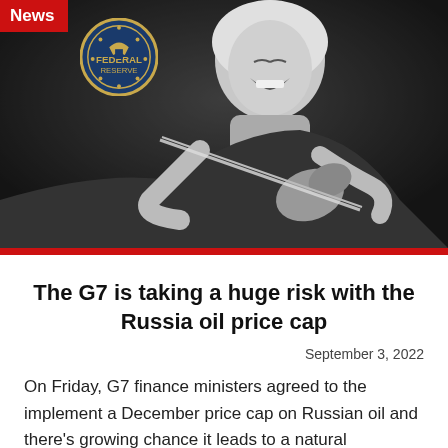[Figure (photo): Black and white photo of a woman laughing while playing violin, with a Federal Reserve seal visible in the upper left area of the image]
News
The G7 is taking a huge risk with the Russia oil price cap
September 3, 2022
On Friday, G7 finance ministers agreed to the implement a December price cap on Russian oil and there's growing chance it leads to a natural